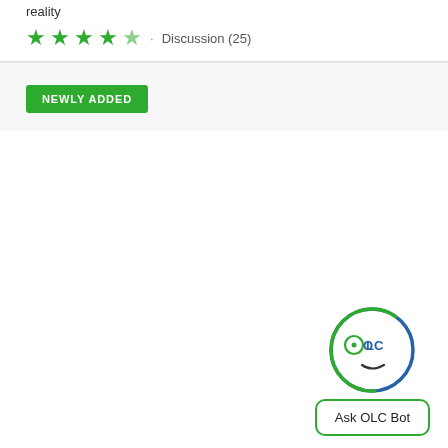reality
★★★★★ · Discussion (25)
NEWLY ADDED
[Figure (logo): OLC Bot face logo: a circle with blue and green outline, two circular eyes with 'OLC' text inside, and a small curved mouth]